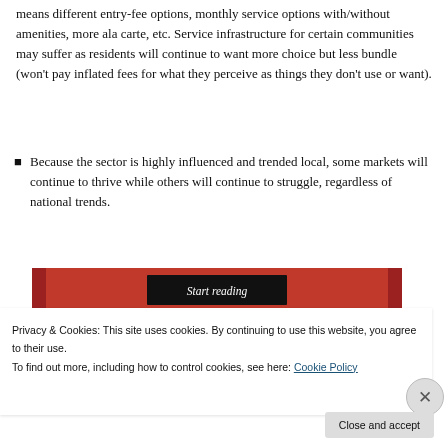means different entry-fee options, monthly service options with/without amenities, more ala carte, etc. Service infrastructure for certain communities may suffer as residents will continue to want more choice but less bundle (won't pay inflated fees for what they perceive as things they don't use or want).
Because the sector is highly influenced and trended local, some markets will continue to thrive while others will continue to struggle, regardless of national trends.
[Figure (other): Red banner with 'Start reading' button in dark background]
Privacy & Cookies: This site uses cookies. By continuing to use this website, you agree to their use.
To find out more, including how to control cookies, see here: Cookie Policy
Close and accept